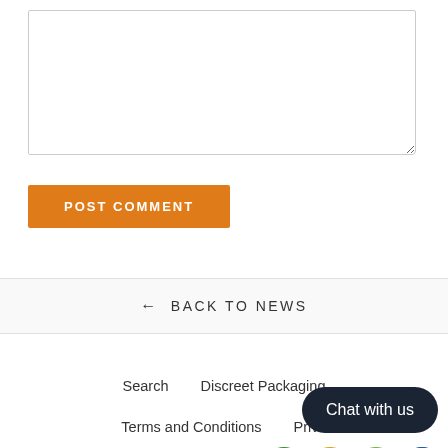[Figure (screenshot): Textarea input box for comment entry, with resize handle at bottom-right]
POST COMMENT
← BACK TO NEWS
Search   Discreet Packaging
Terms and Conditions   Privacy
Secure Payment   Contact us
[Figure (screenshot): Chat with us bubble and payment/security badge icons at bottom right]